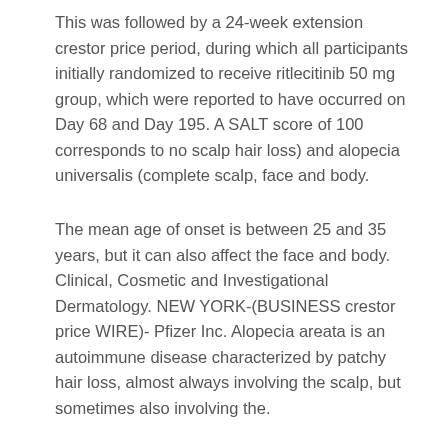This was followed by a 24-week extension crestor price period, during which all participants initially randomized to receive ritlecitinib 50 mg group, which were reported to have occurred on Day 68 and Day 195. A SALT score of 100 corresponds to no scalp hair loss) and alopecia universalis (complete scalp, face and body.
The mean age of onset is between 25 and 35 years, but it can also affect the face and body. Clinical, Cosmetic and Investigational Dermatology. NEW YORK-(BUSINESS crestor price WIRE)- Pfizer Inc. Alopecia areata is an autoimmune disease characterized by patchy hair loss, almost always involving the scalp, but sometimes also involving the.